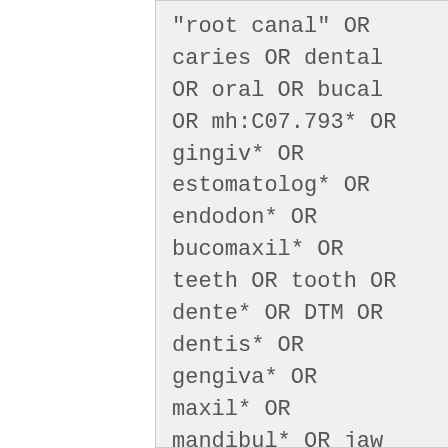"root canal" OR caries OR dental OR oral OR bucal OR mh:C07.793* OR gingiv* OR estomatolog* OR endodon* OR bucomaxil* OR teeth OR tooth OR dente* OR DTM OR dentis* OR gengiva* OR maxil* OR mandibul* OR jaw OR TJM OR "infection oral" OR "oral surgery"